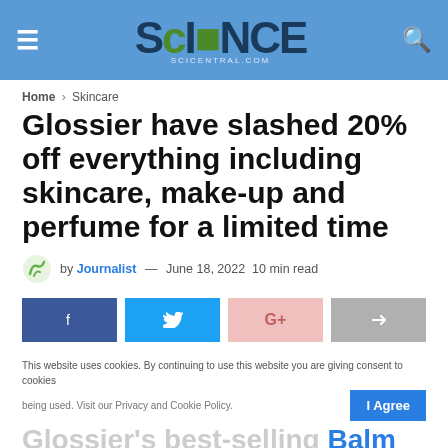≡  SCIENCE (scicentral.com)  🔍
Home › Skincare
Glossier have slashed 20% off everything including skincare, make-up and perfume for a limited time
by Journalist — June 18, 2022  10 min read
Share buttons: Facebook, Twitter, Google+, Share
This website uses cookies. By continuing to use this website you are giving consent to cookies being used. Visit our Privacy and Cookie Policy.  I Agree
Glossier's best-selling Balm